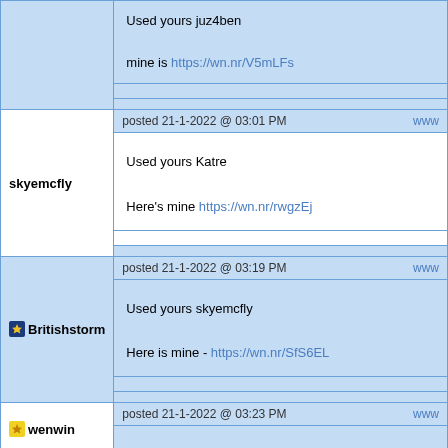Used yours juz4ben

mine is https://wn.nr/V5mLFs
skyemcfly posted 21-1-2022 @ 03:01 PM
Used yours Katre

Here's mine https://wn.nr/rwgzEj
Britishstorm posted 21-1-2022 @ 03:19 PM
Used yours skyemcfly

Here is mine - https://wn.nr/SfS6EL
wenwin posted 21-1-2022 @ 03:23 PM